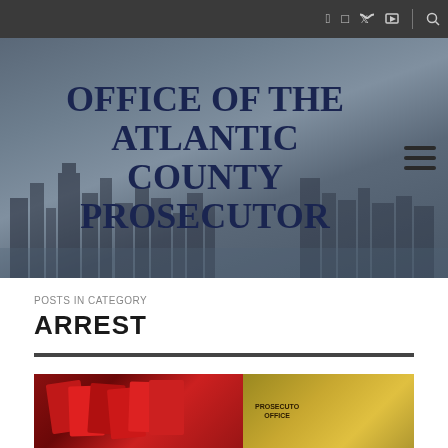Office of the Atlantic County Prosecutor — navigation bar with social icons (Facebook, Instagram, Twitter, YouTube) and search
[Figure (photo): City skyline aerial photo used as hero banner background with title overlay]
OFFICE OF THE ATLANTIC COUNTY PROSECUTOR
POSTS IN CATEGORY
ARREST
[Figure (photo): Thumbnail image showing red folders/documents on left and a gold prosecutor office badge on right]